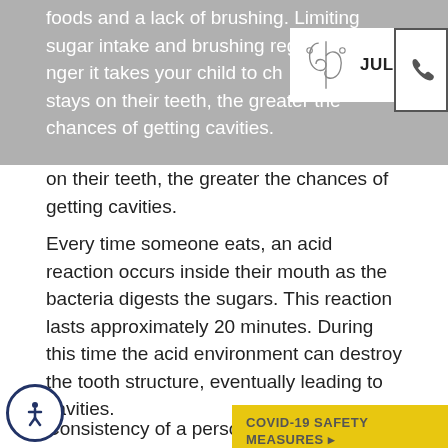foods and a lack of brushing. Limiting sugar intake and brushing regularly … nger it takes your child to ch… esidue stays on their teeth, the greater the chances of getting cavities.
[Figure (logo): Julita S. Patil, DDS Inc. logo with stylized script initials and company name]
Every time someone eats, an acid reaction occurs inside their mouth as the bacteria digests the sugars. This reaction lasts approximately 20 minutes. During this time the acid environment can destroy the tooth structure, eventually leading to cavities.
Consistency of a person's saliva also makes a difference. thinner saliva breaks up and washes away food more quickly. When a person eats diets high in carbohydrates and sugars they tend to have thicker saliva, which in turn allows more of the acid-producing bacteria that can cause cavities.
[Figure (infographic): Yellow COVID-19 Safety Measures and Payment panel overlay]